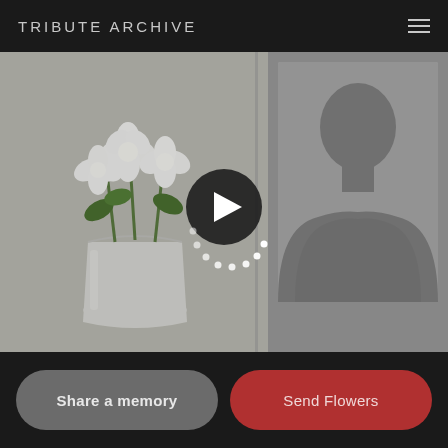TRIBUTE ARCHIVE
[Figure (photo): A composite image: left side shows white flowers (carnations or peonies) in a silver/white bucket on a light grey background; right side shows a generic grey silhouette placeholder of a person (head and shoulders). A dark circular play button with a white triangle is centered over the image, with a partial loading spinner arc of white dots below it.]
Share a memory
Send Flowers